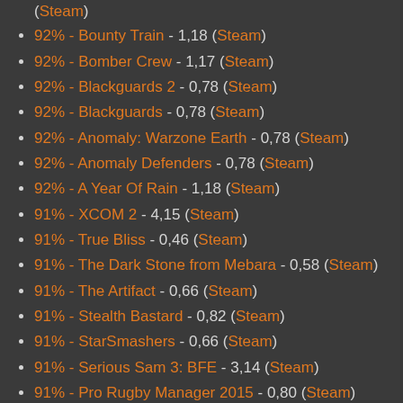(Steam)
92% - Bounty Train - 1,18 (Steam)
92% - Bomber Crew - 1,17 (Steam)
92% - Blackguards 2 - 0,78 (Steam)
92% - Blackguards - 0,78 (Steam)
92% - Anomaly: Warzone Earth - 0,78 (Steam)
92% - Anomaly Defenders - 0,78 (Steam)
92% - A Year Of Rain - 1,18 (Steam)
91% - XCOM 2 - 4,15 (Steam)
91% - True Bliss - 0,46 (Steam)
91% - The Dark Stone from Mebara - 0,58 (Steam)
91% - The Artifact - 0,66 (Steam)
91% - Stealth Bastard - 0,82 (Steam)
91% - StarSmashers - 0,66 (Steam)
91% - Serious Sam 3: BFE - 3,14 (Steam)
91% - Pro Rugby Manager 2015 - 0,80 (Steam)
91% - Pixel Colony - 0,38 (Steam) [partial]